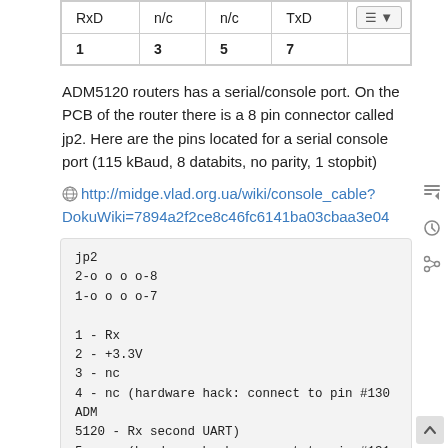| RxD | n/c | n/c | TxD |
| --- | --- | --- | --- |
| 1 | 3 | 5 | 7 |
ADM5120 routers has a serial/console port. On the PCB of the router there is a 8 pin connector called jp2. Here are the pins located for a serial console port (115 kBaud, 8 databits, no parity, 1 stopbit)
http://midge.vlad.org.ua/wiki/console_cable?DokuWiki=7894a2f2ce8c46fc6141ba03cbaa3e04
jp2
2-o o o o-8
1-o o o o-7

1 - Rx
2 - +3.3V
3 - nc
4 - nc (hardware hack: connect to pin #130 ADM 5120 - Rx second UART)
5 - nc (hardware hack: connect to pin #131 ADM 5120 - Tx second UART)
6 - nc